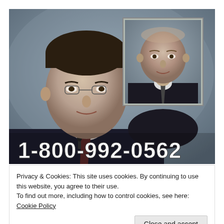[Figure (photo): A grayscale/low-color video still screenshot showing two men in suits. The man in the foreground is larger, facing slightly right. A framed inset photo of a second man (bald, wearing a tie) is in the upper right. At the bottom of the image in large white text: '1-800-992-0562'.]
Privacy & Cookies: This site uses cookies. By continuing to use this website, you agree to their use.
To find out more, including how to control cookies, see here: Cookie Policy
Close and accept